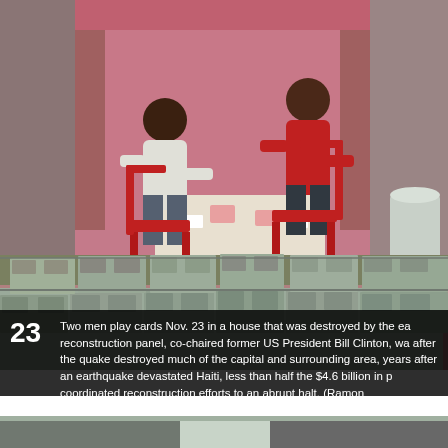[Figure (photo): Two men sitting at a table playing cards inside a partially destroyed house with pink/red walls, red plastic chairs, and a low wall of concrete blocks (cinder blocks) stacked in the foreground.]
23 Two men play cards Nov. 23 in a house that was destroyed by the ea reconstruction panel, co-chaired former US President Bill Clinton, wa after the quake destroyed much of the capital and surrounding area, years after an earthquake devastated Haiti, less than half the $4.6 billion in p coordinated reconstruction efforts to an abrupt halt. (Ramon Espinosa/Assoc
[Figure (photo): Partial view of a second photo at the bottom of the page, cropped.]